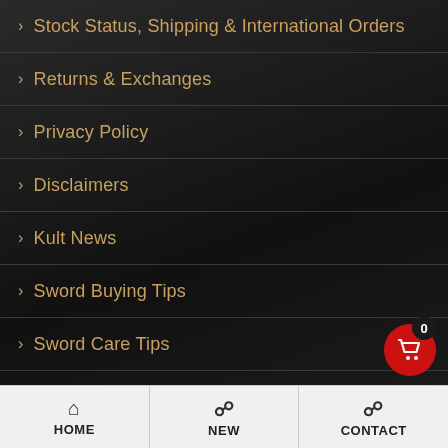> Stock Status, Shipping & International Orders
> Returns & Exchanges
> Privacy Policy
> Disclaimers
> Kult News
> Sword Buying Tips
> Sword Care Tips
> Gift Cards
> Price Matching Policy
> Steel Certification P...
HOME  NEW  CONTACT